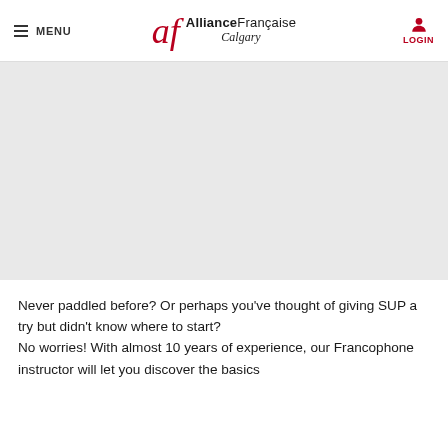MENU | Alliance Française Calgary | LOGIN
[Figure (photo): Large image area (appears blank/white in the scan) — likely a photo related to SUP (stand-up paddleboarding) activity]
Never paddled before? Or perhaps you've thought of giving SUP a try but didn't know where to start? No worries! With almost 10 years of experience, our Francophone instructor will let you discover the basics